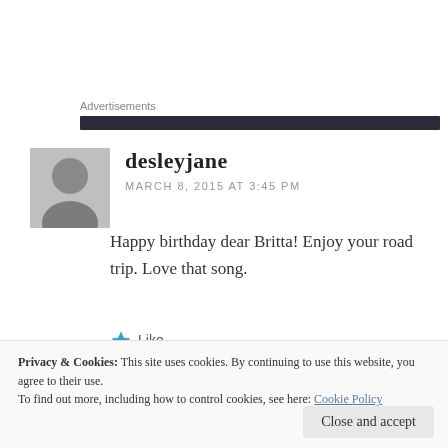Advertisements
desleyjane
MARCH 8, 2015 AT 3:45 PM
Happy birthday dear Britta! Enjoy your road trip. Love that song.
Like
Reply
Privacy & Cookies: This site uses cookies. By continuing to use this website, you agree to their use.
To find out more, including how to control cookies, see here: Cookie Policy
Close and accept